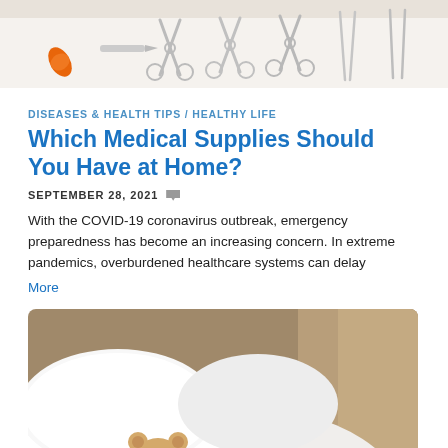[Figure (photo): Medical scissors and surgical tools arranged on a white surface with an orange pill/capsule]
DISEASES & HEALTH TIPS / HEALTHY LIFE
Which Medical Supplies Should You Have at Home?
SEPTEMBER 28, 2021
With the COVID-19 coronavirus outbreak, emergency preparedness has become an increasing concern. In extreme pandemics, overburdened healthcare systems can delay
More
[Figure (photo): A teddy bear peeking over a white bed with pillows, warm brown tones in background]